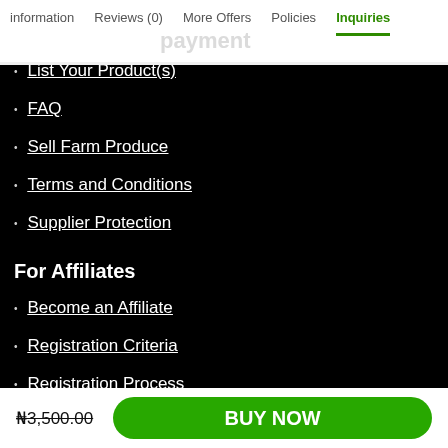information   Reviews (0)   More Offers   Policies   Inquiries
List Your Product(s)
FAQ
Sell Farm Produce
Terms and Conditions
Supplier Protection
For Affiliates
Become an Affiliate
Registration Criteria
Registration Process
Referral Links
₦3,500.00   BUY NOW